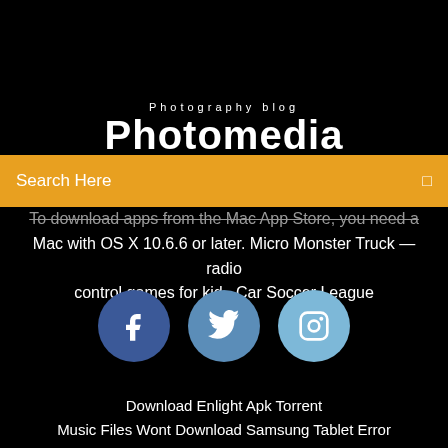Photography blog
Photomedia
Search Here
To download apps from the Mac App Store, you need a Mac with OS X 10.6.6 or later. Micro Monster Truck — radio control games for kid · Car Soccer League
[Figure (infographic): Three social media icon circles: Facebook (dark blue), Twitter (medium blue), Instagram (light blue)]
Download Enlight Apk Torrent
Music Files Wont Download Samsung Tablet Error